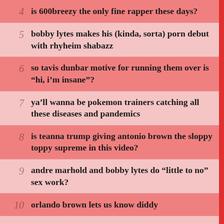4. is 600breezy the only fine rapper these days?
5. bobby lytes makes his (kinda, sorta) porn debut with rhyheim shabazz
6. so tavis dunbar motive for running them over is “hi, i’m insane”?
7. ya’ll wanna be pokemon trainers catching all these diseases and pandemics
8. is teanna trump giving antonio brown the sloppy toppy supreme in this video?
9. andre marhold and bobby lytes do “little to no” sex work?
10. orlando brown lets us know diddy